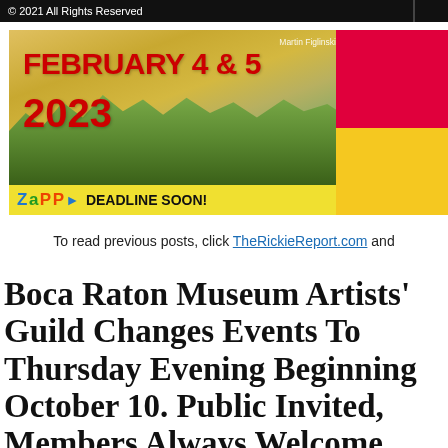© 2021 All Rights Reserved
[Figure (illustration): Event banner for an art show on February 4 & 5, 2023. Left side shows a nature landscape painting (Martin Figlinski) with large bold red text reading FEBRUARY 4 & 5 and 2023. Bottom bar is yellow with Zapp logo and DEADLINE SOON! text. Right side has a hot pink/red rectangle on top and yellow on bottom.]
To read previous posts, click TheRickieReport.com and
Boca Raton Museum Artists' Guild Changes Events To Thursday Evening Beginning October 10. Public Invited, Members Always Welcome